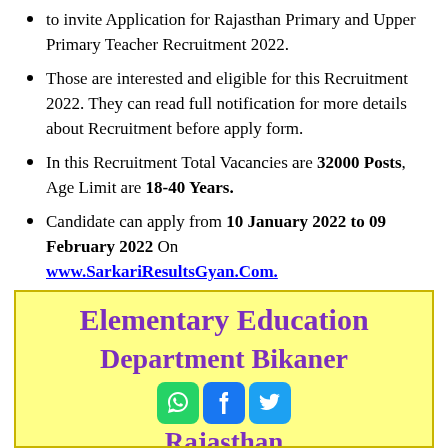to invite Application for Rajasthan Primary and Upper Primary Teacher Recruitment 2022.
Those are interested and eligible for this Recruitment 2022. They can read full notification for more details about Recruitment before apply form.
In this Recruitment Total Vacancies are 32000 Posts, Age Limit are 18-40 Years.
Candidate can apply from 10 January 2022 to 09 February 2022 On www.SarkariResultsGyan.Com.
[Figure (infographic): Yellow box with Elementary Education Department Bikaner Rajasthan heading in purple bold text, with social media icons (WhatsApp, Facebook, Twitter) at the bottom]